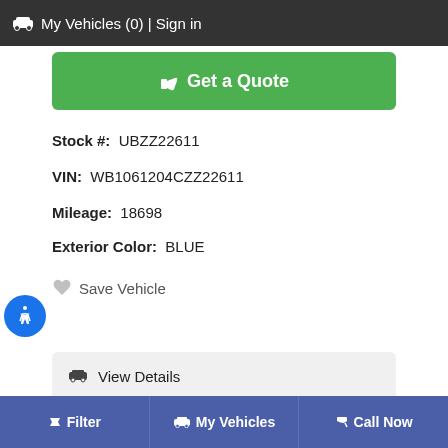🚗 My Vehicles (0) | Sign in
Get a Quote
Stock #: UBZZ22611
VIN: WB1061204CZZ22611
Mileage: 18698
Exterior Color: BLUE
♡ Save Vehicle
View Details
Schedule Test Drive
Get Pre-Approved
Filter | My Vehicles | Call Now